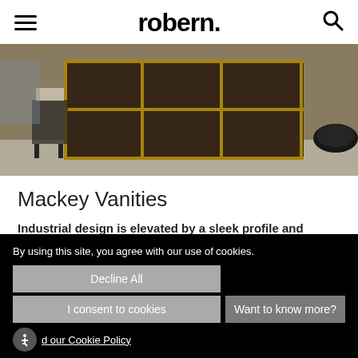robern.
[Figure (photo): Interior photo of Mackey Vanities showing industrial-style shelving unit with dark wood panels and brass/gold metal frame against a brick wall background, with a black vessel sink on the right]
Mackey Vanities
Industrial design is elevated by a sleek profile and stainless steel framework.
List Price starting at $3,929
Styles
By using this site, you agree with our use of cookies.
Decline All
I consent to cookies
Want to know more?
d our Cookie Policy